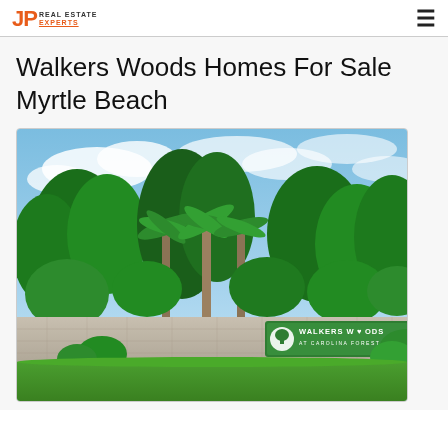JP Real Estate Experts
Walkers Woods Homes For Sale Myrtle Beach
[Figure (photo): Entrance sign for Walkers Woods at Carolina Forest subdivision, showing a stone wall with a green sign reading 'WALKERS WOODS AT CAROLINA FOREST', surrounded by green trees, shrubs, and a lawn under a partly cloudy blue sky.]